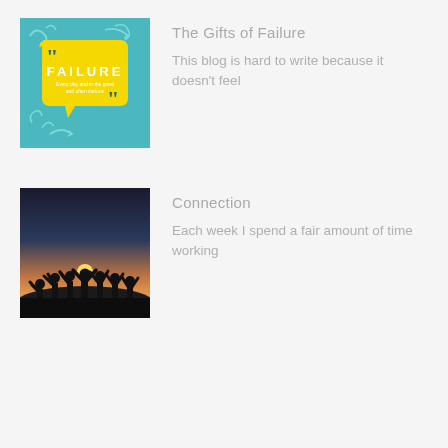[Figure (illustration): Book or blog cover image with teal/turquoise background, yellow speech bubble shape, quotation marks, and the word FAILURE in bold white letters with smaller white text beneath it, decorative swirls and arrows around the bubble]
The Gifts of Failure
This blog is hard to write because it doesn't feel
[Figure (photo): Silhouette of a group of people with raised arms against a warm sunset sky, people appear to be celebrating or cheering]
Connection
Each week I spend a fair amount of time working